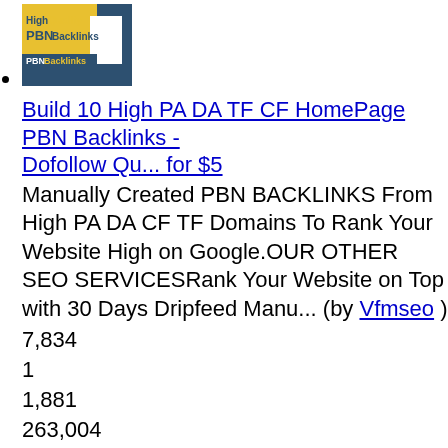Build 10 High PA DA TF CF HomePage PBN Backlinks - Dofollow Qu... for $5
Manually Created PBN BACKLINKS From High PA DA CF TF Domains To Rank Your Website High on Google.OUR OTHER SEO SERVICESRank Your Website on Top with 30 Days Dripfeed Manu... (by Vfmseo )
7,834
1
1,881
263,004
●●●●
order now!
GENUINE YOUTUBE VIDEO PROMOTION SALE for $1
GENUINE YOUTUBE VIDEO PROMOTION 1,000 promotion ... Your Video To Top Ranked And 3 Million Rank...